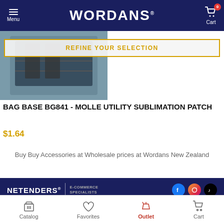Menu | WORDANS | Cart 0
REFINE YOUR SELECTION
[Figure (photo): Product photo of Bag Base BG841 Molle Utility Sublimation Patch, showing a dark bag with MOLLE straps on a blue background]
BAG BASE BG841 - MOLLE UTILITY SUBLIMATION PATCH
$1.64
Buy Buy Accessories at Wholesale prices at Wordans New Zealand
NETENDERS® | E-COMMERCE SPECIALISTS | CONTACT US
Catalog | Favorites | Outlet | Cart